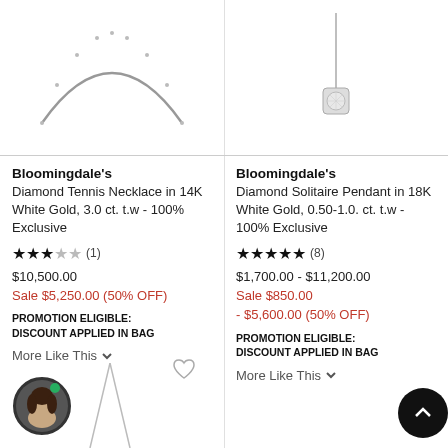[Figure (photo): Partial view of a diamond tennis necklace in white gold on white background]
[Figure (photo): Diamond solitaire pendant on chain in white gold on white background]
Bloomingdale's
Diamond Tennis Necklace in 14K White Gold, 3.0 ct. t.w - 100% Exclusive
★★★☆☆ (1)
$10,500.00
Sale $5,250.00 (50% OFF)
PROMOTION ELIGIBLE: DISCOUNT APPLIED IN BAG
More Like This
Bloomingdale's
Diamond Solitaire Pendant in 18K White Gold, 0.50-1.0. ct. t.w - 100% Exclusive
★★★★★ (8)
$1,700.00 - $11,200.00
Sale $850.00 - $5,600.00 (50% OFF)
PROMOTION ELIGIBLE: DISCOUNT APPLIED IN BAG
More Like This
[Figure (photo): Chat assistant avatar - woman with dark hair]
[Figure (illustration): Partial necklace product image at bottom left]
[Figure (illustration): Scroll-to-top button (dark circle with up chevron)]